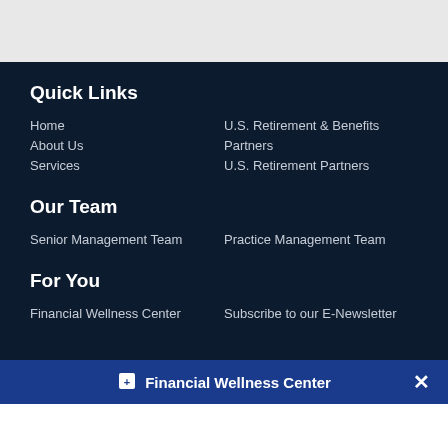Quick Links
Home
U.S. Retirement & Benefits Partners
About Us
U.S. Retirement Partners
Services
Our Team
Senior Management Team
Practice Management Team
For You
Financial Wellness Center
Subscribe to our E-Newsletter
Financial Wellness Center